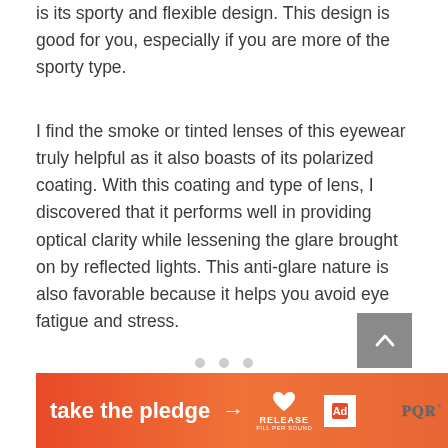is its sporty and flexible design. This design is good for you, especially if you are more of the sporty type.
I find the smoke or tinted lenses of this eyewear truly helpful as it also boasts of its polarized coating. With this coating and type of lens, I discovered that it performs well in providing optical clarity while lessening the glare brought on by reflected lights. This anti-glare nature is also favorable because it helps you avoid eye fatigue and stress.
[Figure (other): Scroll-to-top button (grey square with upward chevron arrow) and three pagination dots below the main text content]
[Figure (other): Advertisement banner: orange-red gradient background with white bold text 'take the pledge', arrow, RELEASE logo with heart icon, and a small white icon box. To the right is a grey MMM logo.]